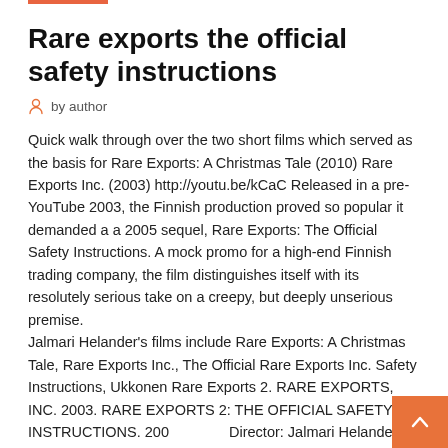Rare exports the official safety instructions
by author
Quick walk through over the two short films which served as the basis for Rare Exports: A Christmas Tale (2010) Rare Exports Inc. (2003) http://youtu.be/kCaC Released in a pre-YouTube 2003, the Finnish production proved so popular it demanded a a 2005 sequel, Rare Exports: The Official Safety Instructions. A mock promo for a high-end Finnish trading company, the film distinguishes itself with its resolutely serious take on a creepy, but deeply unserious premise.
Jalmari Helander's films include Rare Exports: A Christmas Tale, Rare Exports Inc., The Official Rare Exports Inc. Safety Instructions, Ukkonen Rare Exports 2. RARE EXPORTS, INC. 2003. RARE EXPORTS 2: THE OFFICIAL SAFETY INSTRUCTIONS. 2005. Director: Jalmari Helander Reviewed by  22 sept. 2009 Rare Exports: The Official Safety Instructions...